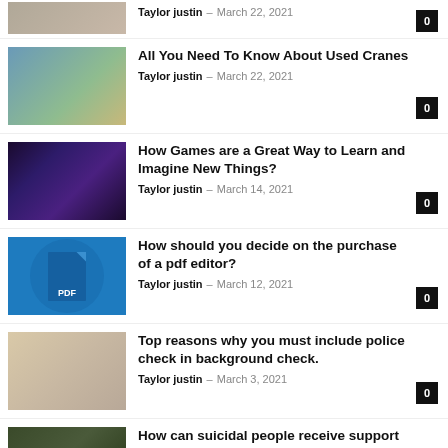[Figure (photo): Partial thumbnail image at top, cropped]
Taylor justin - March 22, 2021
[Figure (photo): Cranes on beach/construction site]
All You Need To Know About Used Cranes
Taylor justin - March 22, 2021
[Figure (photo): Person gaming at illuminated keyboard in dark room]
How Games are a Great Way to Learn and Imagine New Things?
Taylor justin - March 14, 2021
[Figure (photo): Blue circle PDF document icon]
How should you decide on the purchase of a pdf editor?
Taylor justin - March 12, 2021
[Figure (photo): Criminal background check document with pen]
Top reasons why you must include police check in background check.
Taylor justin - March 3, 2021
[Figure (photo): Outdoor nature/forest scene, partial]
How can suicidal people receive support from